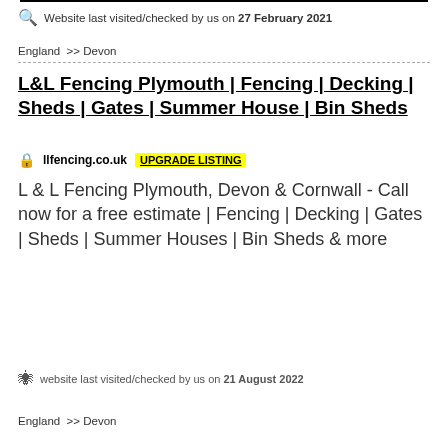Website last visited/checked by us on 27 February 2021
England >> Devon
L&L Fencing Plymouth | Fencing | Decking | Sheds | Gates | Summer House | Bin Sheds
llfencing.co.uk  UPGRADE LISTING
L & L Fencing Plymouth, Devon & Cornwall - Call now for a free estimate | Fencing | Decking | Gates | Sheds | Summer Houses | Bin Sheds & more
website last visited/checked by us on 21 August 2022
England >> Devon